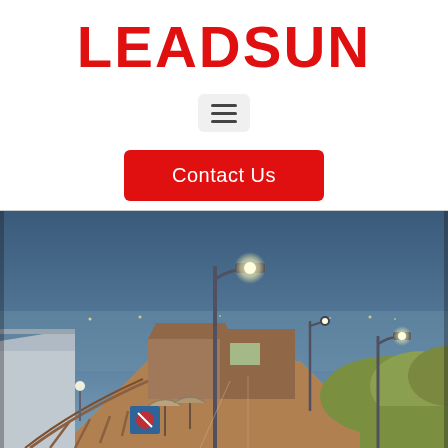LEADSUN
[Figure (other): Hamburger menu button icon with three horizontal lines on a light gray rounded rectangle background]
Contact Us
[Figure (photo): Twilight/dusk photo of a seaside promenade or pier walkway with solar-powered street lights illuminated, wooden railing fence on the left, green hedge bushes on the right, buildings in the background, and a calm sea/bay in the distance under a blue-gray sky.]